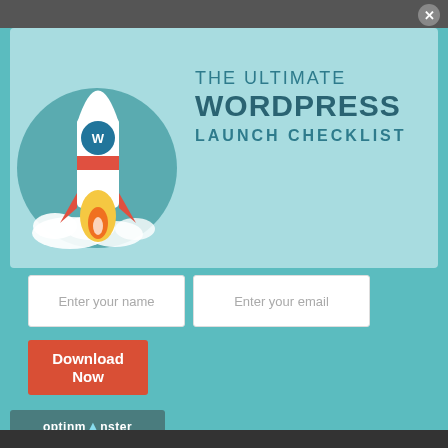[Figure (screenshot): A modal popup overlay for 'The Ultimate WordPress Launch Checklist' featuring a rocket ship illustration with WordPress logo, two input fields for name and email, a red Download Now button, and an OptinMonster branding bar at the bottom. The modal sits on a teal/cyan background with a dark top bar and X close button.]
THE ULTIMATE WORDPRESS LAUNCH CHECKLIST
Enter your name
Enter your email
Download Now
optinmonster